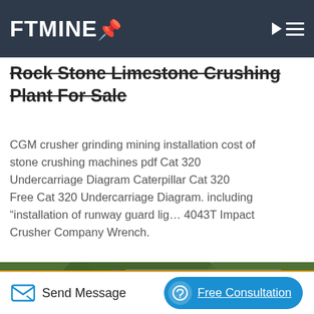FTMINE
Rock Stone Limestone Crushing Plant For Sale
CGM crusher grinding mining installation cost of stone crushing machines pdf Cat 320 Undercarriage Diagram Caterpillar Cat 320 Free Cat 320 Undercarriage Diagram. including “installation of runway guard lig… 4043T Impact Crusher Company Wrench.
[Figure (photo): Photograph of a blue cone crusher mounted on a steel frame structure outdoors, surrounded by green trees.]
Send Message   Free Consultation